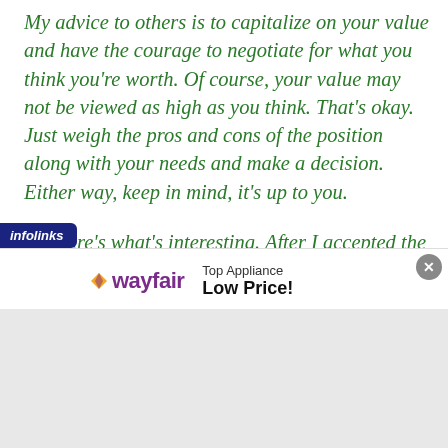My advice to others is to capitalize on your value and have the courage to negotiate for what you think you're worth. Of course, your value may not be viewed as high as you think. That's okay. Just weigh the pros and cons of the position along with your needs and make a decision. Either way, keep in mind, it's up to you.
But here's what's interesting. After I accepted the position, I went back to the hiring manager and asked why he offered a lower salary to
[Figure (other): Wayfair advertisement banner with infolinks label, showing Wayfair logo and text 'Top Appliance Low Price!' with a close button]